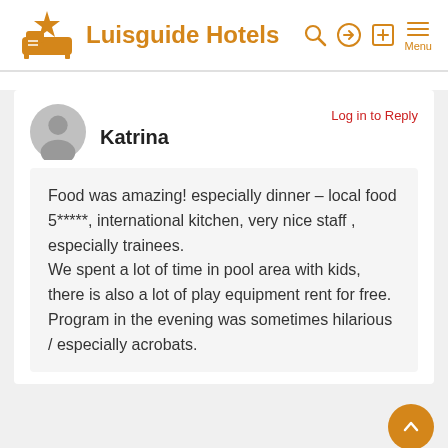Luisguide Hotels
Log in to Reply
Katrina
Food was amazing! especially dinner – local food 5*****, international kitchen, very nice staff , especially trainees. We spent a lot of time in pool area with kids, there is also a lot of play equipment rent for free. Program in the evening was sometimes hilarious / especially acrobats.